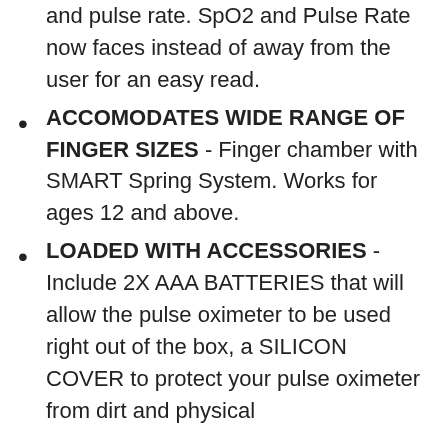and pulse rate. SpO2 and Pulse Rate now faces instead of away from the user for an easy read.
ACCOMODATES WIDE RANGE OF FINGER SIZES - Finger chamber with SMART Spring System. Works for ages 12 and above.
LOADED WITH ACCESSORIES - Include 2X AAA BATTERIES that will allow the pulse oximeter to be used right out of the box, a SILICON COVER to protect your pulse oximeter from dirt and physical